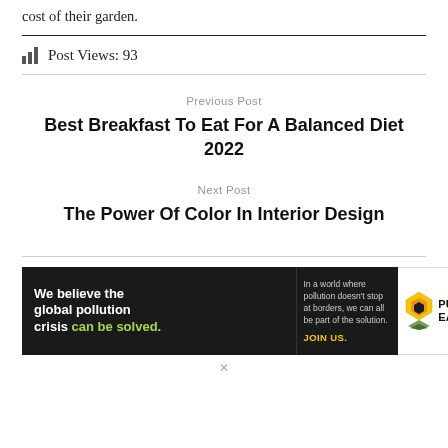cost of their garden.
Post Views: 93
Previous Post
Best Breakfast To Eat For A Balanced Diet 2022
Next Post
The Power Of Color In Interior Design
[Figure (infographic): Pure Earth advertisement banner with dark background. Left side reads 'We believe the global pollution crisis can be solved.' with 'can be solved.' in green. Center column says 'In a world where pollution doesn't stop at borders, we can all be part of the solution. JOIN US.' in yellow. Right side shows Pure Earth logo with diamond/chevron icon and 'PURE EARTH' text in bold.]